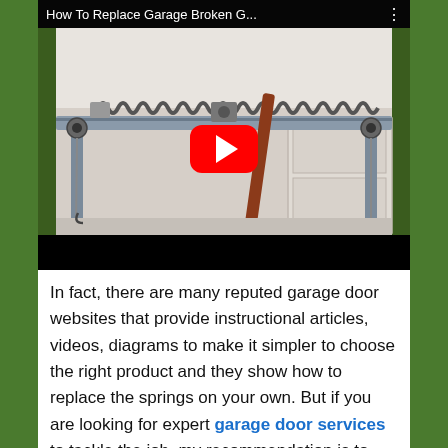[Figure (screenshot): YouTube video thumbnail showing a garage interior with torsion spring and metal rod. Video title bar reads 'How To Replace Garage Broken G...' with a red YouTube play button in the center and a black progress bar at the bottom.]
In fact, there are many reputed garage door websites that provide instructional articles, videos, diagrams to make it simpler to choose the right product and they show how to replace the springs on your own. But if you are looking for expert garage door services to tackle the job, my recommendation is to hire the most experienced and reputed garage door company. So the internet is the right